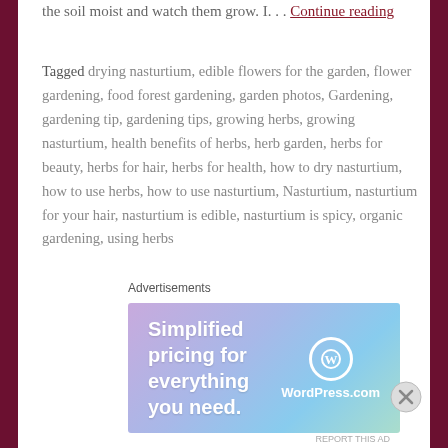the soil moist and watch them grow. I. . . Continue reading
Tagged drying nasturtium, edible flowers for the garden, flower gardening, food forest gardening, garden photos, Gardening, gardening tip, gardening tips, growing herbs, growing nasturtium, health benefits of herbs, herb garden, herbs for beauty, herbs for hair, herbs for health, how to dry nasturtium, how to use herbs, how to use nasturtium, Nasturtium, nasturtium for your hair, nasturtium is edible, nasturtium is spicy, organic gardening, using herbs
21 Comments
GARDENING, HERBS, LAW OF ATTRACTION
[Figure (screenshot): WordPress.com advertisement banner: 'Simplified pricing for everything you need.' with WordPress.com logo]